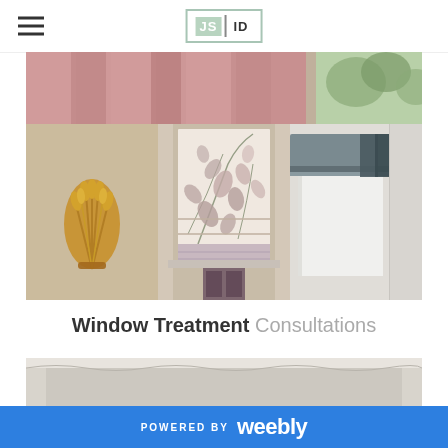JS ID logo with hamburger menu
[Figure (photo): Collage of window treatment photos: pink curtains at top, gold wheat wall decor on left, floral roman shade in center, grey cornice board on right]
Window Treatment Consultations
[Figure (photo): Partial view of a window treatment, light grey/beige tones]
POWERED BY weebly